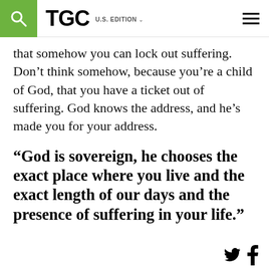TGC U.S. EDITION
that somehow you can lock out suffering. Don’t think somehow, because you’re a child of God, that you have a ticket out of suffering. God knows the address, and he’s made you for your address.
“God is sovereign, he chooses the exact place where you live and the exact length of our days and the presence of suffering in your life.”